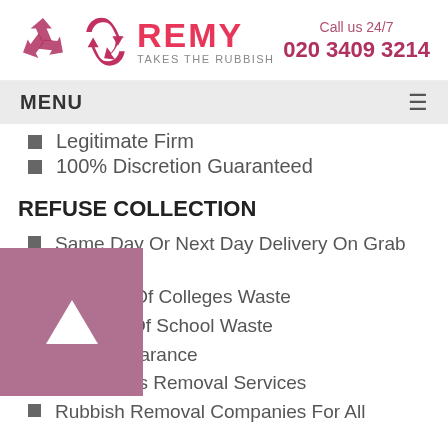[Figure (logo): Remy Takes The Rubbish logo with recycling icon and tagline. Phone: Call us 24/7, 020 3409 3214]
MENU ≡
Legitimate Firm
100% Discretion Guaranteed
REFUSE COLLECTION
Same Day Or Next Day Delivery On Grab Lorries
Disposal Of Colleges Waste
Clearing Of School Waste
Room Clearance
Mattresses Removal Services
Rubbish Removal Companies For All